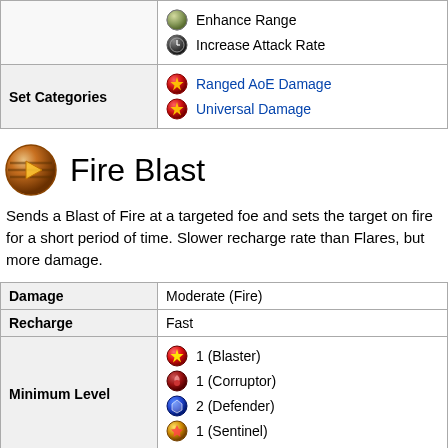|  |  |
| --- | --- |
| Set Categories | Ranged AoE Damage
Universal Damage |
Fire Blast
Sends a Blast of Fire at a targeted foe and sets the target on fire for a short period of time. Slower recharge rate than Flares, but more damage.
|  |  |
| --- | --- |
| Damage | Moderate (Fire) |
| Recharge | Fast |
| Minimum Level | 1 (Blaster)
1 (Corruptor)
2 (Defender)
1 (Sentinel) |
| Effects | Ranged |
| Enhancements | Enhance Accuracy
Enhance Damage... |